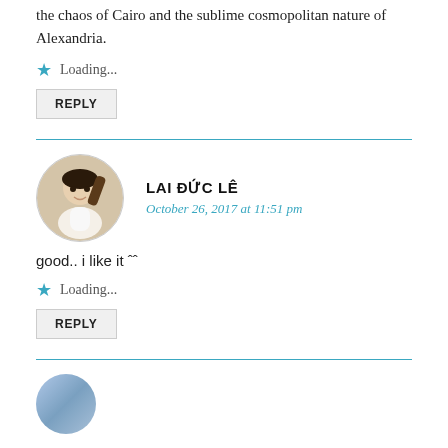the chaos of Cairo and the sublime cosmopolitan nature of Alexandria.
Loading...
REPLY
LAI ĐỨC LÊ
October 26, 2017 at 11:51 pm
good.. i like it ˆˆ
Loading...
REPLY